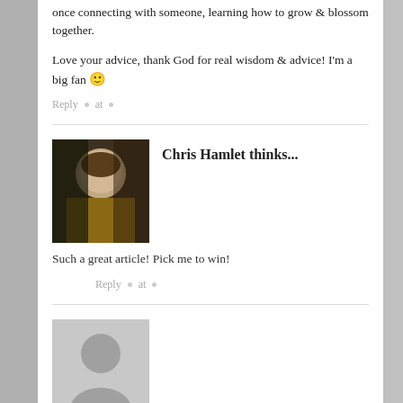once connecting with someone, learning how to grow & blossom together.
Love your advice, thank God for real wisdom & advice! I'm a big fan 🙂
Reply • at •
[Figure (photo): Profile photo of Chris Hamlet, a man with short hair]
Chris Hamlet thinks...
Such a great article! Pick me to win!
Reply • at •
[Figure (photo): Generic avatar placeholder silhouette in gray]
Anya thinks...